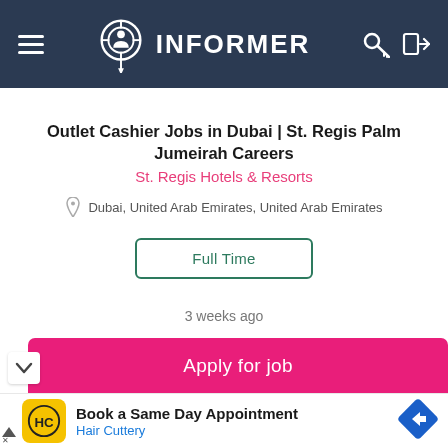INFORMER
Outlet Cashier Jobs in Dubai | St. Regis Palm Jumeirah Careers
St. Regis Hotels & Resorts
Dubai, United Arab Emirates, United Arab Emirates
Full Time
3 weeks ago
Apply for job
[Figure (infographic): Advertisement banner for Hair Cuttery: yellow logo with HC monogram, text 'Book a Same Day Appointment' and 'Hair Cuttery' in blue, blue diamond navigation icon on right]